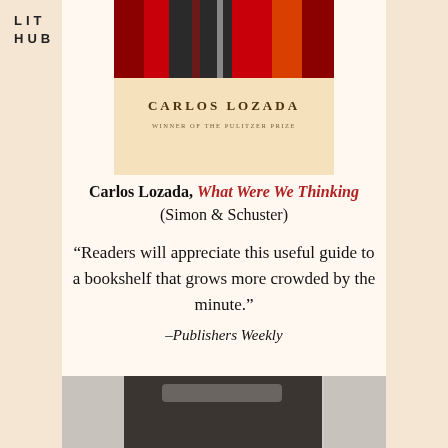LIT HUB
[Figure (illustration): Book cover of 'What Were We Thinking' by Carlos Lozada, featuring decorative ribbon/medal imagery in red, black and cream tones. Author name 'CARLOS LOZADA' and 'WINNER OF THE PULITZER PRIZE' shown on cream background.]
Carlos Lozada, What Were We Thinking (Simon & Schuster)
“Readers will appreciate this useful guide to a bookshelf that grows more crowded by the minute.” –Publishers Weekly
[Figure (photo): Partially visible black and white photograph at the bottom of the page, showing what appears to be a book or printed material.]